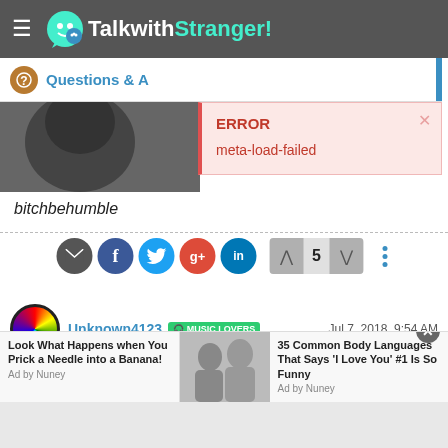TalkwithStranger!
Questions & A
[Figure (screenshot): Error popup showing ERROR and meta-load-failed message over page content]
bitchbehumble
[Figure (infographic): Social share buttons: email, facebook, twitter, google+, linkedin; vote arrows with count 5; more options dots]
Unknown4123  MUSIC LOVERS  Jul 7, 2018, 9:54 AM
@wtfjudith When will you stop ignoring me?
[Figure (screenshot): Advertisement banner: Look What Happens when You Prick a Needle into a Banana! and 35 Common Body Languages That Says I Love You #1 Is So Funny]